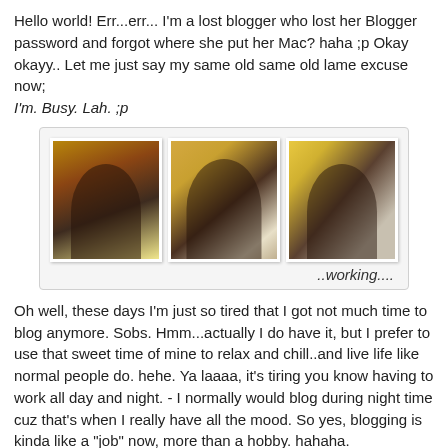Hello world! Err...err... I'm a lost blogger who lost her Blogger password and forgot where she put her Mac? haha ;p Okay okayy.. Let me just say my same old same old lame excuse now;
I'm. Busy. Lah. ;p
[Figure (photo): Three photos arranged side by side showing a woman wearing a hijab, appearing to be working. Below the photos is handwritten-style text reading '..working....']
Oh well, these days I'm just so tired that I got not much time to blog anymore. Sobs. Hmm...actually I do have it, but I prefer to use that sweet time of mine to relax and chill..and live life like normal people do. hehe. Ya laaaa, it's tiring you know having to work all day and night. - I normally would blog during night time cuz that's when I really have all the mood. So yes, blogging is kinda like a "job" now, more than a hobby. hahaha. Nah..kidding. Blogging is my passion/hobby, but these days I rarely have time for it. Too. Tired. =(